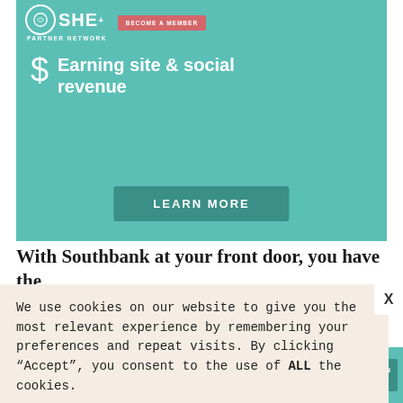[Figure (screenshot): SHE Partner Network advertisement banner with teal background. Shows dollar sign icon with text 'Earning site & social revenue' and a 'LEARN MORE' button.]
With Southbank at your front door, you have the
We use cookies on our website to give you the most relevant experience by remembering your preferences and repeat visits. By clicking “Accept”, you consent to the use of ALL the cookies.
Do not sell my personal information.
[Figure (screenshot): SHE Partner Network bottom advertisement strip with teal background showing bullet points: Earning site & social revenue, Traffic growth, Speaking on our stages. Has SHE logo and LEARN MORE button.]